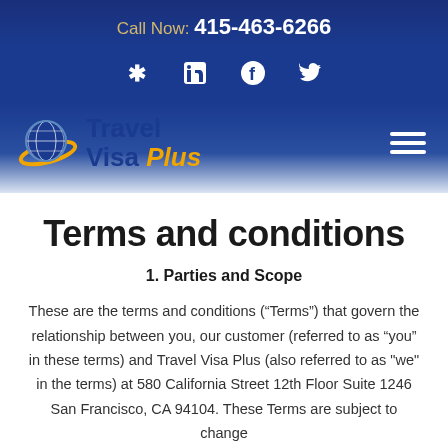Call Now: 415-463-6266
[Figure (logo): Social media icons: Yelp, LinkedIn, Facebook, Twitter in white on dark blue background]
[Figure (logo): Travel Visa Plus logo with globe graphic, blue and orange colors, and hamburger menu icon]
Terms and conditions
1. Parties and Scope
These are the terms and conditions (“Terms”) that govern the relationship between you, our customer (referred to as “you” in these terms) and Travel Visa Plus (also referred to as "we" in the terms) at 580 California Street 12th Floor Suite 1246 San Francisco, CA 94104. These Terms are subject to change